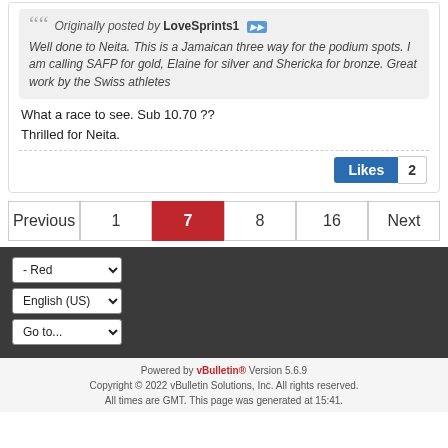Originally posted by LoveSprints1 [icon] Well done to Neita. This is a Jamaican three way for the podium spots. I am calling SAFP for gold, Elaine for silver and Shericka for bronze. Great work by the Swiss athletes
What a race to see. Sub 10.70 ??
Thrilled for Neita.
Likes 2
Previous 1 7 8 16 Next
- Red
English (US)
Go to...
Powered by vBulletin® Version 5.6.9
Copyright © 2022 vBulletin Solutions, Inc. All rights reserved.
All times are GMT. This page was generated at 15:41.